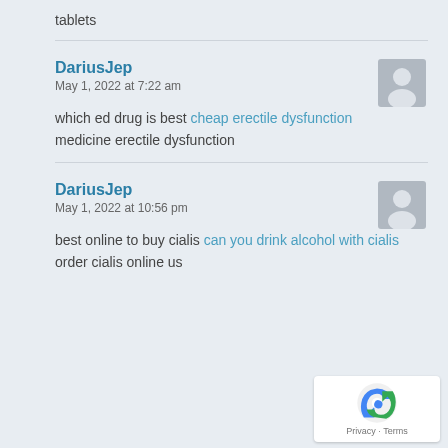tablets
DariusJep
May 1, 2022 at 7:22 am
which ed drug is best cheap erectile dysfunction medicine erectile dysfunction
DariusJep
May 1, 2022 at 10:56 pm
best online to buy cialis can you drink alcohol with cialis order cialis online us